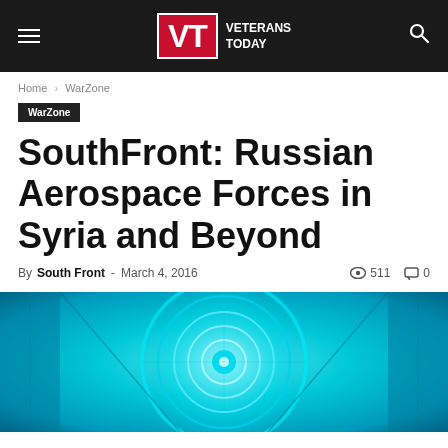Veterans Today
Home › WarZone
WarZone
SouthFront: Russian Aerospace Forces in Syria and Beyond
By South Front - March 4, 2016   511   0
[Figure (photo): Cyan/teal colored circular futuristic ceiling light or architectural detail with glowing rings]